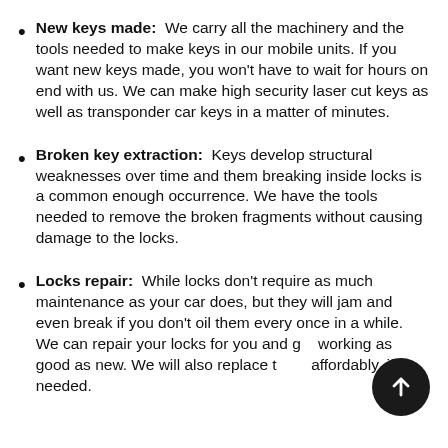New keys made:  We carry all the machinery and the tools needed to make keys in our mobile units. If you want new keys made, you won't have to wait for hours on end with us. We can make high security laser cut keys as well as transponder car keys in a matter of minutes.
Broken key extraction:  Keys develop structural weaknesses over time and them breaking inside locks is a common enough occurrence. We have the tools needed to remove the broken fragments without causing damage to the locks.
Locks repair:  While locks don't require as much maintenance as your car does, but they will jam and even break if you don't oil them every once in a while. We can repair your locks for you and get working as good as new. We will also replace them affordably, if needed.